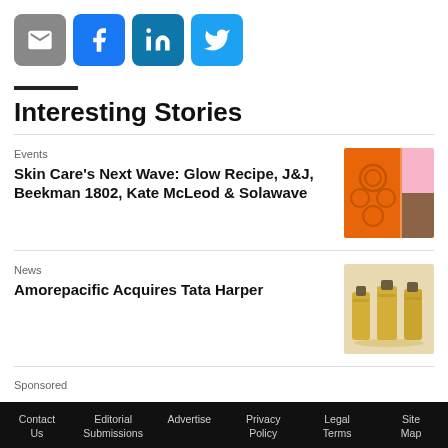[Figure (infographic): Row of four social share buttons: email (grey), Facebook (blue), LinkedIn (blue), Twitter (light blue)]
Interesting Stories
Events
Skin Care's Next Wave: Glow Recipe, J&J, Beekman 1802, Kate McLeod & Solawave
[Figure (photo): Orange embossed beauty product with floral pattern, pink and brown cosmetics beside it]
News
Amorepacific Acquires Tata Harper
[Figure (photo): Three gold/yellow glass bottles with dark caps on beige background]
Sponsored
Contact Us   Editorial Submissions   Advertise   Privacy Policy   Legal Terms   Site Map